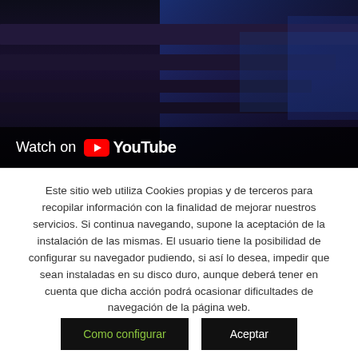[Figure (screenshot): YouTube video embed with dark/purple background showing abstract steps or stairs, with 'Watch on YouTube' overlay button at the bottom]
Este sitio web utiliza Cookies propias y de terceros para recopilar información con la finalidad de mejorar nuestros servicios. Si continua navegando, supone la aceptación de la instalación de las mismas. El usuario tiene la posibilidad de configurar su navegador pudiendo, si así lo desea, impedir que sean instaladas en su disco duro, aunque deberá tener en cuenta que dicha acción podrá ocasionar dificultades de navegación de la página web.
Como configurar
Aceptar